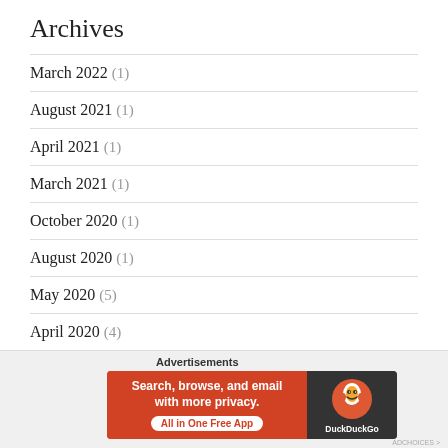Archives
March 2022 (1)
August 2021 (1)
April 2021 (1)
March 2021 (1)
October 2020 (1)
August 2020 (1)
May 2020 (5)
April 2020 (4)
March 2020 (2)
[Figure (infographic): DuckDuckGo advertisement banner: 'Search, browse, and email with more privacy. All in One Free App' with DuckDuckGo logo on dark background.]